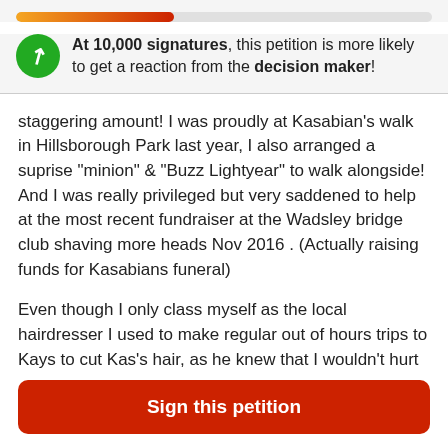[Figure (infographic): Progress bar showing gradient from orange to dark red, approximately 38% filled, on a light grey track]
At 10,000 signatures, this petition is more likely to get a reaction from the decision maker!
staggering amount! I was proudly at Kasabian's walk in Hillsborough Park last year, I also arranged a suprise "minion" & "Buzz Lightyear" to walk alongside! And I was really privileged but very saddened to help at the most recent fundraiser at the Wadsley bridge club shaving more heads Nov 2016 . (Actually raising funds for Kasabians funeral)

Even though I only class myself as the local hairdresser I used to make regular out of hours trips to Kays to cut Kas's hair, as he knew that I wouldn't hurt him due to his scar on his head, which was a
Sign this petition